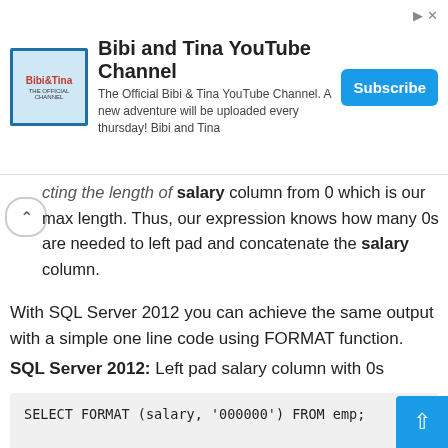[Figure (other): Advertisement banner for Bibi and Tina YouTube Channel with logo, description text, and Subscribe button]
cting the length of salary column from 0 which is our max length. Thus, our expression knows how many 0s are needed to left pad and concatenate the salary column.
With SQL Server 2012 you can achieve the same output with a simple one line code using FORMAT function.
SQL Server 2012: Left pad salary column with 0s
SELECT FORMAT (salary, '000000') FROM emp;

empid          salary
----------- -----------
1              000300